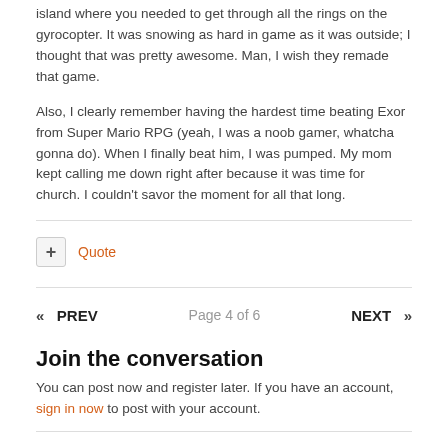island where you needed to get through all the rings on the gyrocopter. It was snowing as hard in game as it was outside; I thought that was pretty awesome. Man, I wish they remade that game.
Also, I clearly remember having the hardest time beating Exor from Super Mario RPG (yeah, I was a noob gamer, whatcha gonna do). When I finally beat him, I was pumped. My mom kept calling me down right after because it was time for church. I couldn't savor the moment for all that long.
+ Quote
« PREV   Page 4 of 6   NEXT »
Join the conversation
You can post now and register later. If you have an account, sign in now to post with your account.